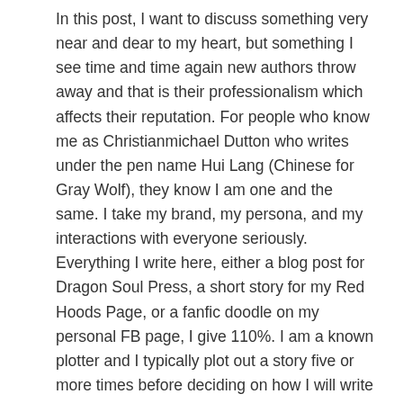In this post, I want to discuss something very near and dear to my heart, but something I see time and time again new authors throw away and that is their professionalism which affects their reputation. For people who know me as Christianmichael Dutton who writes under the pen name Hui Lang (Chinese for Gray Wolf), they know I am one and the same. I take my brand, my persona, and my interactions with everyone seriously. Everything I write here, either a blog post for Dragon Soul Press, a short story for my Red Hoods Page, or a fanfic doodle on my personal FB page, I give 110%. I am a known plotter and I typically plot out a story five or more times before deciding on how I will write the story. Then I get feedback on my work if time permits after I've gone through several cycles of self-editing.
Let's start with a foundational rule: